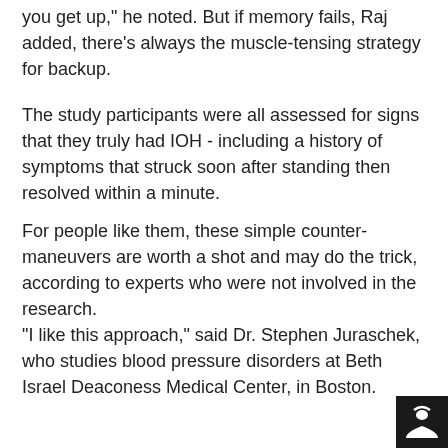you get up," he noted. But if memory fails, Raj added, there's always the muscle-tensing strategy for backup.
The study participants were all assessed for signs that they truly had IOH - including a history of symptoms that struck soon after standing then resolved within a minute.
For people like them, these simple counter-maneuvers are worth a shot and may do the trick, according to experts who were not involved in the research.
"I like this approach," said Dr. Stephen Juraschek, who studies blood pressure disorders at Beth Israel Deaconess Medical Center, in Boston.
He did have some cautions - including the fact that this was a small study of young women only.
"I'd like to see a larger study of a more diverse group, including older adults," Juraschek said.
[Figure (logo): Black and white logo in bottom right corner]